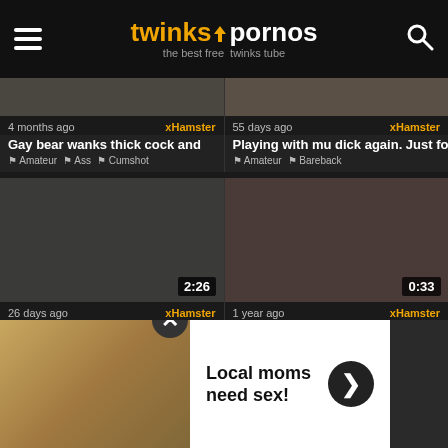twinkspornos – the best free twinks tube
[Figure (screenshot): Video thumbnail top-left: Gay bear wanks thick cock and]
4 months ago   xHamster
Gay bear wanks thick cock and
Amateur  Ass  Cumshot
[Figure (screenshot): Video thumbnail top-right: Playing with mu dick again. Just for]
55 days ago   xHamster
Playing with mu dick again. Just for
Amateur  Bareback
[Figure (screenshot): Video thumbnail mid-left: From soft to hard and cumming, duration 2:26]
26 days ago   xHamster
From soft to hard and cumming
Amate...
[Figure (screenshot): Video thumbnail mid-right: Cock cage cutie, duration 0:33]
1 year ago   xHamster
Cock cage cutie
...ser  Hd
[Figure (infographic): Advertisement overlay: Local moms need sex! with close button and person image]